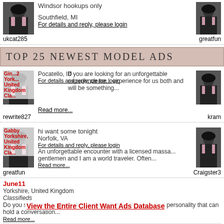Windsor hookups only
Southfield, MI
For details and reply, please login
ukcat285
greatfun
TOP 25 NEWEST MODEL ADS
Gin...2 / York... United Kingdom / Cla...
Pocatello, ID
For details and reply, please login
If you are looking for an unforgettable experience he... experience for us both and will be something...
Read more...
rewrite827
kram
Gabby / Yorkshire, United Kingdom / Cla...
hi want some tonight
Norfolk, VA
For details and reply, please login
An unforgettable encounter with a licensed massa... gentlemen and I am a world traveler. Often...
Read more...
greatfun
Craigster3
June11
Yorkshire, United Kingdom
Classifieds
Do you seek a companion that is not all fluff but has su... and personality that can hold a conversation...
Read more...
View the Entire Client Want Ads Database
Rae49
I am an elite companion that seeks only distinguished g... ever man want me on his side. I highly...